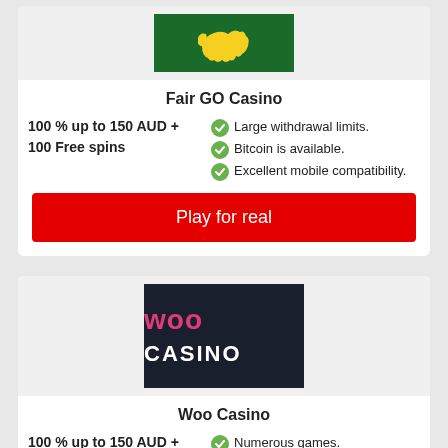[Figure (logo): Fair GO Casino logo - yellow Australia map on dark green background]
Fair GO Casino
100 % up to 150 AUD + 100 Free spins
Large withdrawal limits.
Bitcoin is available.
Excellent mobile compatibility.
Play for real
[Figure (logo): Woo Casino logo - pink WOO and white CASINO text on dark background]
Woo Casino
100 % up to 150 AUD + 100 Free spins
Numerous games.
Availability of cryptocurrency.
Lots of tournaments.